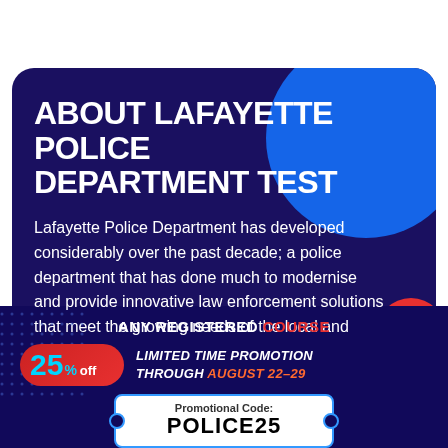ABOUT LAFAYETTE POLICE DEPARTMENT TEST
Lafayette Police Department has developed considerably over the past decade; a police department that has done much to modernise and provide innovative law enforcement solutions that meet the growing needs of the local and
ANY REGISTERED COURSE
25% off LIMITED TIME PROMOTION THROUGH AUGUST 22–29
Promotional Code: POLICE25